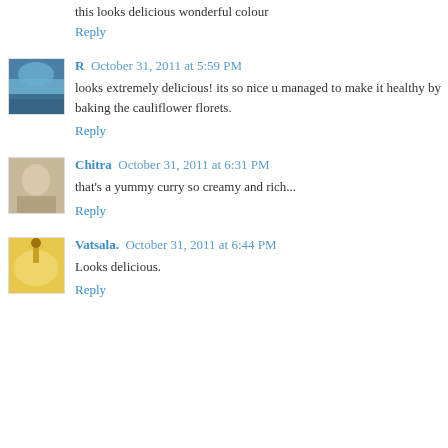this looks delicious wonderful colour
Reply
R  October 31, 2011 at 5:59 PM
looks extremely delicious! its so nice u managed to make it healthy by baking the cauliflower florets.
Reply
Chitra  October 31, 2011 at 6:31 PM
that's a yummy curry so creamy and rich...
Reply
Vatsala.  October 31, 2011 at 6:44 PM
Looks delicious.
Reply